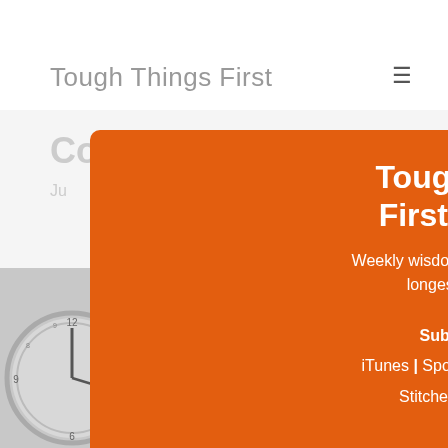Tough Things First
Co
Ju
[Figure (screenshot): Background image of multiple analog clocks in black and white, partially visible]
Tough Things First Podcast
Weekly wisdom from Silicon Valley's longest serving CEO
Subscribe Now:
iTunes | Spotify | Google Podcast
Stitcher | Pocket Casts
|
TuneIn
RSS